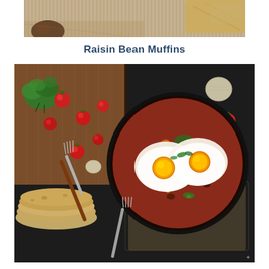[Figure (photo): Top portion of a food photo showing bread/baked goods on a wooden surface with striped background, partially cropped]
Raisin Bean Muffins
[Figure (photo): Overhead food photograph showing a cast iron skillet with two fried eggs on a bed of seasoned vegetables/beans, garnished with fresh herbs. Surrounding the skillet are cherry tomatoes, fresh parsley, garlic, flatbread/tortillas, and two forks on a dark background with a wooden cutting board.]